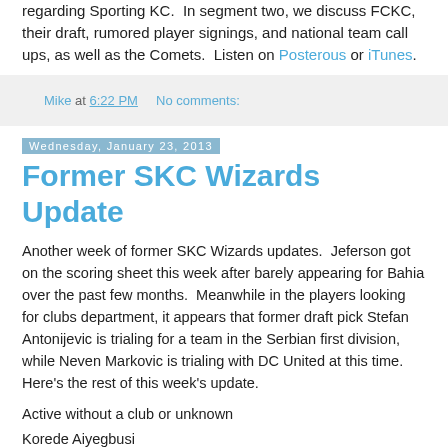regarding Sporting KC.  In segment two, we discuss FCKC, their draft, rumored player signings, and national team call ups, as well as the Comets.  Listen on Posterous or iTunes.
Mike at 6:22 PM    No comments:
Wednesday, January 23, 2013
Former SKC Wizards Update
Another week of former SKC Wizards updates.  Jeferson got on the scoring sheet this week after barely appearing for Bahia over the past few months.  Meanwhile in the players looking for clubs department, it appears that former draft pick Stefan Antonijevic is trialing for a team in the Serbian first division, while Neven Markovic is trialing with DC United at this time.  Here's the rest of this week's update.
Active without a club or unknown
Korede Aiyegbusi
Doug DeMartin
Birahim Dion